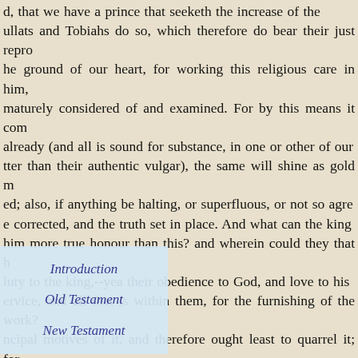d, that we have a prince that seeketh the increase of the ullats and Tobiahs do so, which therefore do bear their just repro he ground of our heart, for working this religious care in him, maturely considered of and examined. For by this means it com already (and all is sound for substance, in one or other of our tter than their authentic vulgar), the same will shine as gold m ed; also, if anything be halting, or superfluous, or not so agre e corrected, and the truth set in place. And what can the king him more true honour than this? and wherein could they that h luty to the king,--yea their obedience to God, and love to his ervice, and all that is within them, for the furnishing of the work? ncipal motives of it, and therefore ought least to quarrel it; for he importunate petitions of the Puritans, at His Majesty's comin mpton Court having been appointed for hearing their complaints out from all other grounds, they had recourse at the last, to thi conscience subscribe to the communion book, since it mainta ated, which was (as they said) a most corrupted translation. A t a very poor and empty shift, yet even hereupon did His Maje o by a new translation, and presently after i o thee. Thus much to satisfy our scrupulou s tions of our adversaries
Introduction
Old Testament
New Testament